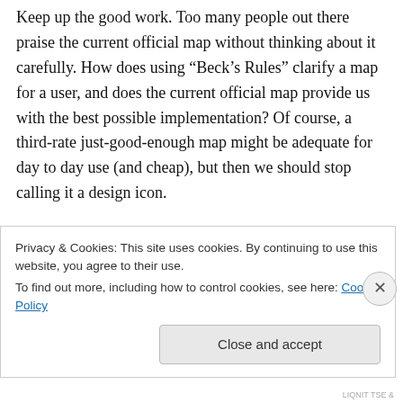Keep up the good work. Too many people out there praise the current official map without thinking about it carefully. How does using “Beck’s Rules” clarify a map for a user, and does the current official map provide us with the best possible implementation? Of course, a third-rate just-good-enough map might be adequate for day to day use (and cheap), but then we should stop calling it a design icon.
My latest project, ‘Cranky Map’, is intended to show just how nasty a map that follows ‘Beck’s...
Privacy & Cookies: This site uses cookies. By continuing to use this website, you agree to their use.
To find out more, including how to control cookies, see here: Cookie Policy